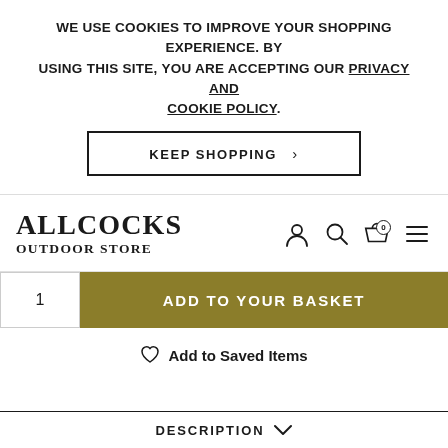WE USE COOKIES TO IMPROVE YOUR SHOPPING EXPERIENCE. BY USING THIS SITE, YOU ARE ACCEPTING OUR PRIVACY AND COOKIE POLICY.
KEEP SHOPPING >
[Figure (logo): Allcocks Outdoor Store logo with navigation icons (user, search, basket with 0, hamburger menu)]
ADD TO YOUR BASKET
♡ Add to Saved Items
DESCRIPTION